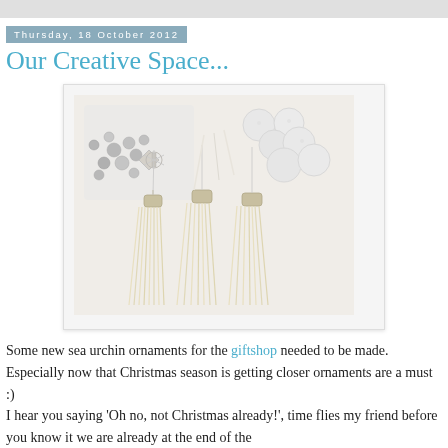Thursday, 18 October 2012
Our Creative Space...
[Figure (photo): Flat lay photo of craft supplies for sea urchin ornaments: silver beads and a decorative snowflake in a plastic bag, white fuzzy round balls, and three cream/ivory tassel ornaments with thin metallic pins, on a white surface.]
Some new sea urchin ornaments for the giftshop needed to be made. Especially now that Christmas season is getting closer ornaments are a must :)
I hear you saying 'Oh no, not Christmas already!', time flies my friend before you know it we are already at the end of the